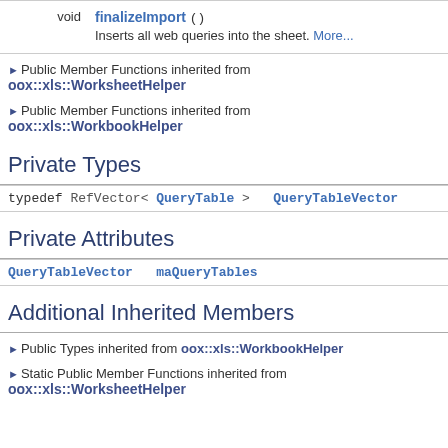| void | finalizeImport () | Inserts all web queries into the sheet. More... |
▶ Public Member Functions inherited from oox::xls::WorksheetHelper
▶ Public Member Functions inherited from oox::xls::WorkbookHelper
Private Types
| typedef | RefVector< QueryTable > | QueryTableVector |
Private Attributes
| QueryTableVector | maQueryTables |
Additional Inherited Members
▶ Public Types inherited from oox::xls::WorkbookHelper
▶ Static Public Member Functions inherited from oox::xls::WorksheetHelper